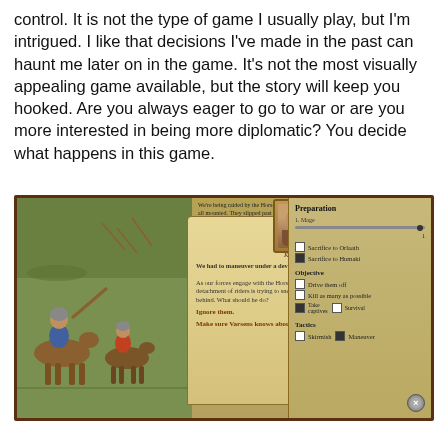control. It is not the type of game I usually play, but I'm intrigued. I like that decisions I've made in the past can haunt me later on in the game. It's not the most visually appealing game available, but the story will keep you hooked. Are you always eager to go to war or are you more interested in being more diplomatic? You decide what happens in this game.
[Figure (screenshot): Screenshot of a medieval strategy game interface showing a battle scene on the left with mounted soldiers, a parchment dialog box in the center with a portrait of a character named Karlmar and text about maneuvering under arrows and a flanking decision, and a right panel showing Preparation options including Mage slider, Sacrifice to Orlaath/Humaki checkboxes, Objective options (Drive them off, Kill as many as possible, Take captives, Survival), and Tactics options (Skirmish and Maneuver).]